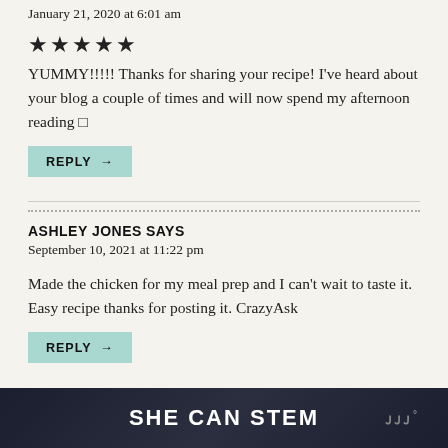January 21, 2020 at 6:01 am
[Figure (other): 5 star rating shown as filled star icons]
YUMMY!!!!! Thanks for sharing your recipe! I've heard about your blog a couple of times and will now spend my afternoon reading 🙂
REPLY →
ASHLEY JONES SAYS
September 10, 2021 at 11:22 pm
Made the chicken for my meal prep and I can't wait to taste it. Easy recipe thanks for posting it. CrazyAsk
REPLY →
SHE CAN STEM